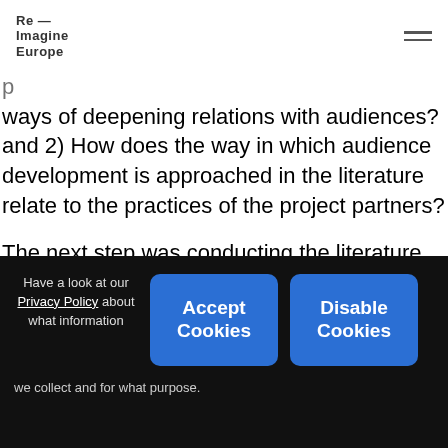Re—Imagine Europe
ways of deepening relations with audiences? and 2) How does the way in which audience development is approached in the literature relate to the practices of the project partners?

The next step was conducting the literature review for which roughly 100 articles were selected and reviewed: from policy documents and hands-on manuals to scholarly articles. The aspects the partners wished to gain further insights into
Have a look at our Privacy Policy about what information we collect and for what purpose.